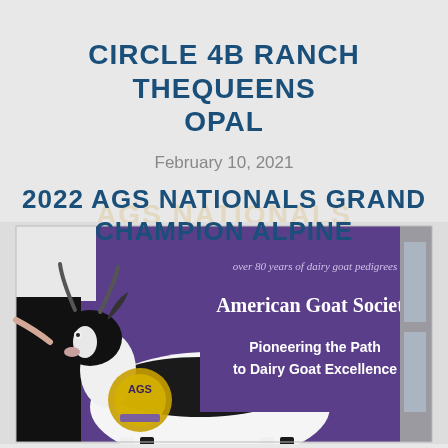CIRCLE 4B RANCH THEQUEENS OPAL
February 10, 2021
2022 AGS NATIONALS GRAND CHAMPION ALPINE
[Figure (photo): A black and white dairy goat being shown at the 2022 AGS Nationals in front of a purple American Goat Society banner reading 'over 80 years of dairy goat pedigrees', 'American Goat Society', 'Pioneering the Path to Dairy Goat Excellence'. A person in white shirt and black pants holds the goat's lead. A gold circular AGS trophy/ribbon is visible on the left.]